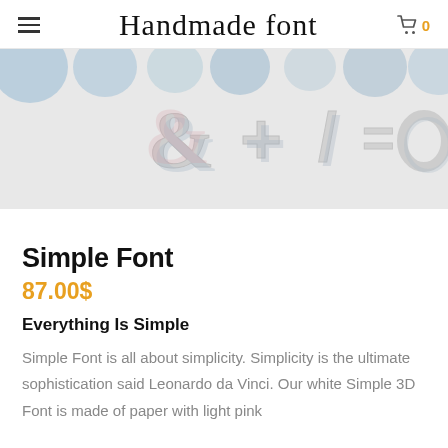Handmade font
[Figure (photo): 3D paper font characters including ampersand, plus sign, slash, equals sign, and zero/ring shape in white with pink and blue shadows on a light grey background]
Simple Font
87.00$
Everything Is Simple
Simple Font is all about simplicity. Simplicity is the ultimate sophistication said Leonardo da Vinci. Our white Simple 3D Font is made of paper with light pink